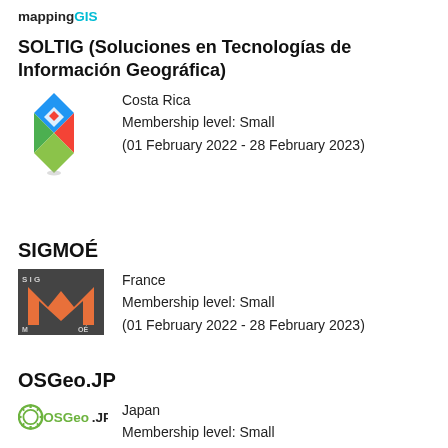mappingGIS
SOLTIG (Soluciones en Tecnologías de Información Geográfica)
Costa Rica
Membership level: Small
(01 February 2022 - 28 February 2023)
SIGMOÉ
France
Membership level: Small
(01 February 2022 - 28 February 2023)
OSGeo.JP
Japan
Membership level: Small
(01 February 2022 - 28 February 2023)